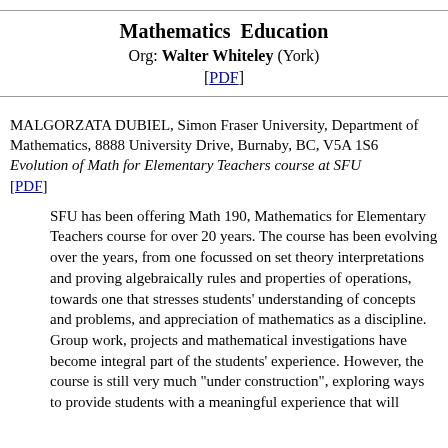Mathematics Education
Org: Walter Whiteley (York)
[PDF]
MALGORZATA DUBIEL, Simon Fraser University, Department of Mathematics, 8888 University Drive, Burnaby, BC, V5A 1S6
Evolution of Math for Elementary Teachers course at SFU
[PDF]
SFU has been offering Math 190, Mathematics for Elementary Teachers course for over 20 years. The course has been evolving over the years, from one focussed on set theory interpretations and proving algebraically rules and properties of operations, towards one that stresses students' understanding of concepts and problems, and appreciation of mathematics as a discipline. Group work, projects and mathematical investigations have become integral part of the students' experience. However, the course is still very much "under construction", exploring ways to provide students with a meaningful experience that will